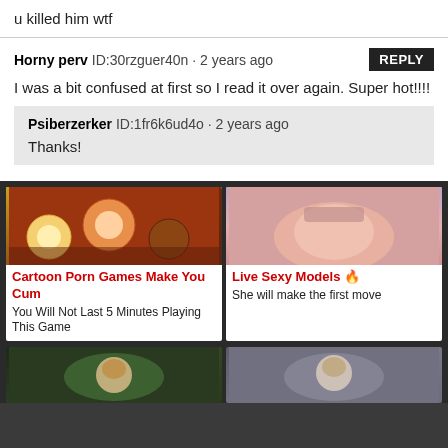u killed him wtf
Horny perv ID:30rzguer40n • 2 years ago
I was a bit confused at first so I read it over again. Super hot!!!!
Psiberzerker ID:1fr6k6ud4o • 2 years ago
Thanks!
[Figure (photo): Cartoon adult animation still]
[Figure (photo): Adult photo]
Cartoon Porn Games Make You Cum
You Will Not Last 5 Minutes Playing This Game
Live Sexy Models 🔥
She will make the first move
[Figure (photo): Adult content thumbnail bottom left]
[Figure (photo): Adult content thumbnail bottom right]